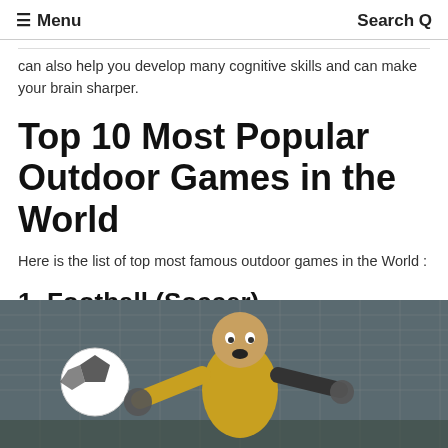≡ Menu   Search Q
can also help you develop many cognitive skills and can make your brain sharper.
Top 10 Most Popular Outdoor Games in the World
Here is the list of top most famous outdoor games in the World :
1. Football (Soccer)
[Figure (photo): A goalkeeper in a yellow jersey diving to save a soccer ball, viewed from ground level with a net in the background]